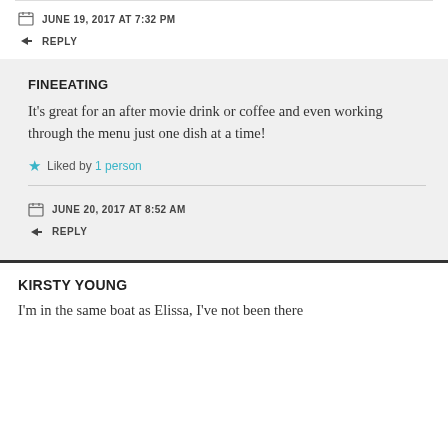JUNE 19, 2017 AT 7:32 PM
REPLY
FINEEATING
It's great for an after movie drink or coffee and even working through the menu just one dish at a time!
Liked by 1 person
JUNE 20, 2017 AT 8:52 AM
REPLY
KIRSTY YOUNG
I'm in the same boat as Elissa, I've not been there